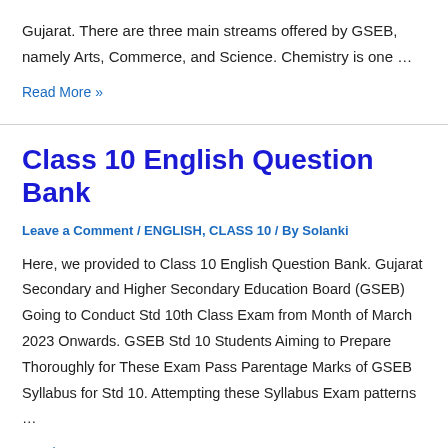Gujarat. There are three main streams offered by GSEB, namely Arts, Commerce, and Science. Chemistry is one …
Read More »
Class 10 English Question Bank
Leave a Comment / ENGLISH, CLASS 10 / By Solanki
Here, we provided to Class 10 English Question Bank. Gujarat Secondary and Higher Secondary Education Board (GSEB) Going to Conduct Std 10th Class Exam from Month of March 2023 Onwards. GSEB Std 10 Students Aiming to Prepare Thoroughly for These Exam Pass Parentage Marks of GSEB Syllabus for Std 10. Attempting these Syllabus Exam patterns …
Read More »